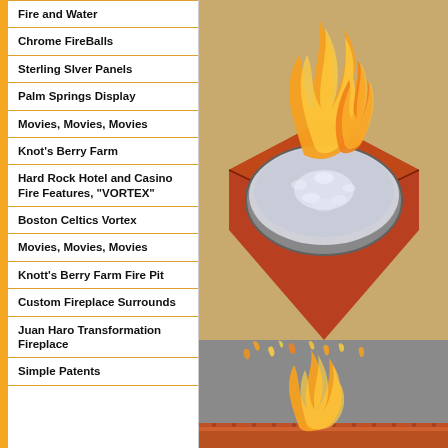Fire and Water
Chrome FireBalls
Sterling Slver Panels
Palm Springs Display
Movies, Movies, Movies
Knot's Berry Farm
Hard Rock Hotel and Casino Fire Features, "VORTEX"
Boston Celtics Vortex
Movies, Movies, Movies
Knott's Berry Farm Fire Pit
Custom Fireplace Surrounds
Juan Haro Transformation Fireplace
Simple Patents
[Figure (photo): Copper fire bowl with glass beads/crystals filled inside, surrounded by copper square base, with flames rising above it. Photographed on a tan/gold background.]
[Figure (photo): Fire and flames scene from below, with scattered flame pieces flying upward and a larger flame visible at bottom, on a grey background with a copper fireplace edge visible.]